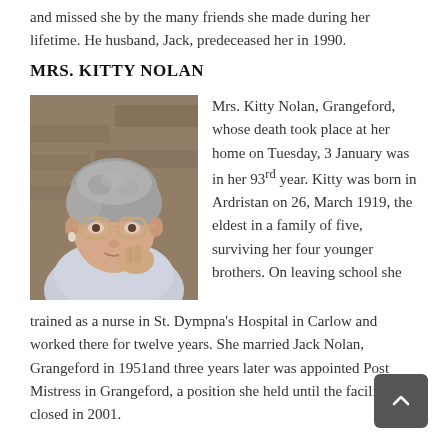and missed she by the many friends she made during her lifetime. He husband, Jack, predeceased her in 1990.
MRS. KITTY NOLAN
[Figure (photo): Portrait photograph of Mrs. Kitty Nolan, an elderly woman with curly grey hair, glasses, wearing a light-coloured cardigan, resting her hand near her face, photographed against a stone wall background.]
Mrs. Kitty Nolan, Grangeford, whose death took place at her home on Tuesday, 3 January was in her 93rd year. Kitty was born in Ardristan on 26, March 1919, the eldest in a family of five, surviving her four younger brothers. On leaving school she trained as a nurse in St. Dympna's Hospital in Carlow and worked there for twelve years. She married Jack Nolan, Grangeford in 1951and three years later was appointed Post Mistress in Grangeford, a position she held until the facility was closed in 2001.